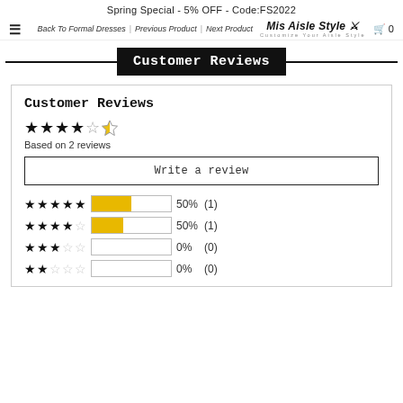Spring Special - 5% OFF - Code:FS2022
Back To Formal Dresses | Previous Product | Next Product | Mis Aisle Style | 0
Customer Reviews
Customer Reviews
★★★★☆ Based on 2 reviews
Write a review
★★★★★ 50% (1)
★★★★☆ 50% (1)
★★★☆☆ 0% (0)
★★☆☆☆ 0% (0)